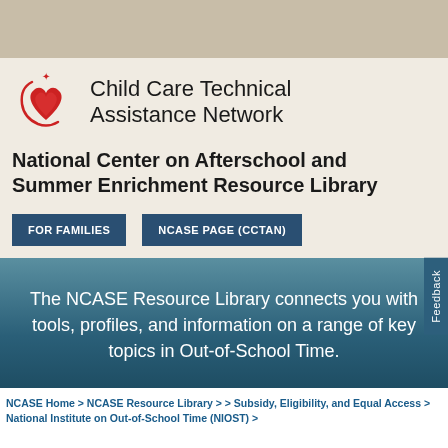[Figure (logo): Child Care Technical Assistance Network logo with red heart and circular swoosh design with star]
Child Care Technical Assistance Network
National Center on Afterschool and Summer Enrichment Resource Library
FOR FAMILIES
NCASE PAGE (CCTAN)
The NCASE Resource Library connects you with tools, profiles, and information on a range of key topics in Out-of-School Time.
NCASE Home > NCASE Resource Library > > Subsidy, Eligibility, and Equal Access > National Institute on Out-of-School Time (NIOST) >